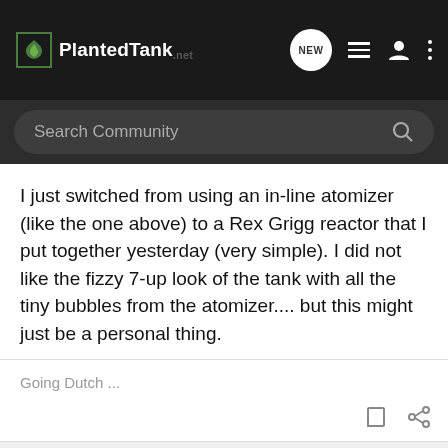PlantedTank — navigation bar with logo, NEW button, list icon, person icon, more icon
Search Community
I just switched from using an in-line atomizer (like the one above) to a Rex Grigg reactor that I put together yesterday (very simple). I did not like the fizzy 7-up look of the tank with all the tiny bubbles from the atomizer.... but this might just be a personal thing.
Going Dutch ...
RandomMan · Registered
Joined May 31, 2011 · 430 Posts